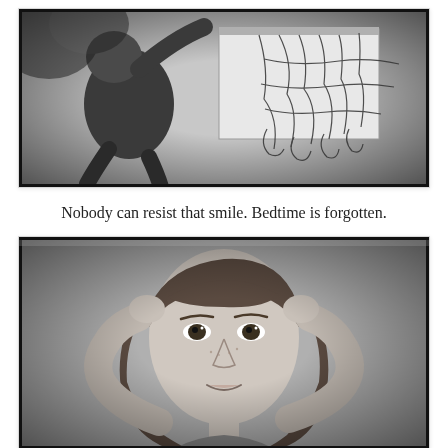[Figure (photo): Black and white photograph of a young boy hanging from or playing around a basketball hoop/net, photographed from below at an angle. High contrast B&W image with vignette border effect.]
Nobody can resist that smile. Bedtime is forgotten.
[Figure (photo): Black and white close-up photograph of a young girl with her arms raised behind her head, looking directly at the camera. She has bangs and medium-length hair. High contrast B&W portrait with vignette border effect.]